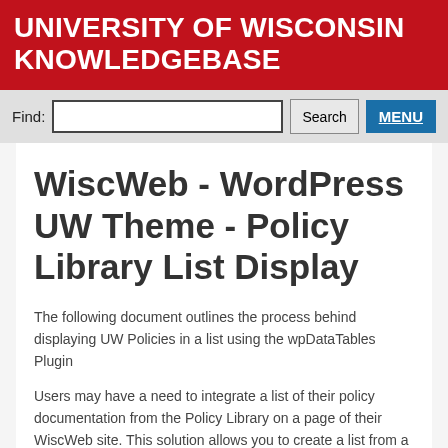UNIVERSITY OF WISCONSIN KNOWLEDGEBASE
WiscWeb - WordPress UW Theme - Policy Library List Display
The following document outlines the process behind displaying UW Policies in a list using the wpDataTables Plugin
Users may have a need to integrate a list of their policy documentation from the Policy Library on a page of their WiscWeb site. This solution allows you to create a list from a